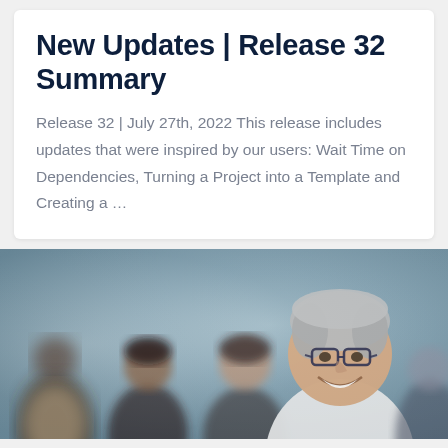New Updates | Release 32 Summary
Release 32 | July 27th, 2022 This release includes updates that were inspired by our users: Wait Time on Dependencies, Turning a Project into a Template and Creating a ...
[Figure (photo): Group of smiling business professionals in a meeting or office setting, with an older woman with short grey hair and glasses in the foreground smiling at the camera.]